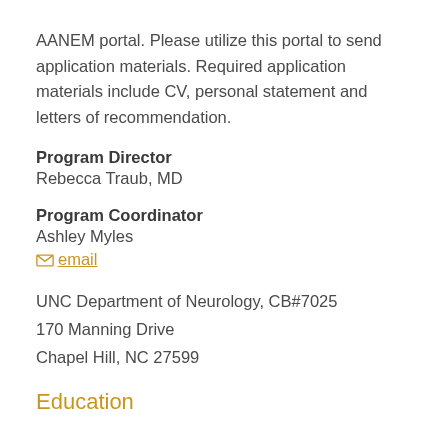AANEM portal. Please utilize this portal to send application materials. Required application materials include CV, personal statement and letters of recommendation.
Program Director
Rebecca Traub, MD
Program Coordinator
Ashley Myles
email
UNC Department of Neurology, CB#7025
170 Manning Drive
Chapel Hill, NC 27599
Education